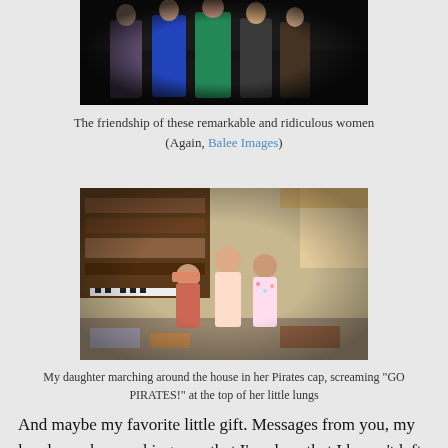[Figure (photo): Group of women posing together in colorful dresses against a dark background]
The friendship of these remarkable and ridiculous women (Again, Balee Images)
[Figure (photo): Three young girls standing in a cluttered room, one wearing a Pirates cap]
My daughter marching around the house in her Pirates cap, screaming "GO PIRATES!" at the top of her little lungs
And maybe my favorite little gift. Messages from you, my lovely readers, making sure that I'm okay, that I haven't left the blog or